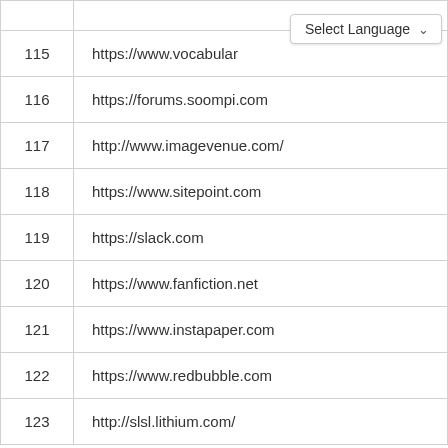|  |  |
| --- | --- |
| 115 | https://www.vocabular… |
| 116 | https://forums.soompi.com |
| 117 | http://www.imagevenue.com/ |
| 118 | https://www.sitepoint.com |
| 119 | https://slack.com |
| 120 | https://www.fanfiction.net |
| 121 | https://www.instapaper.com |
| 122 | https://www.redbubble.com |
| 123 | http://slsl.lithium.com/ |